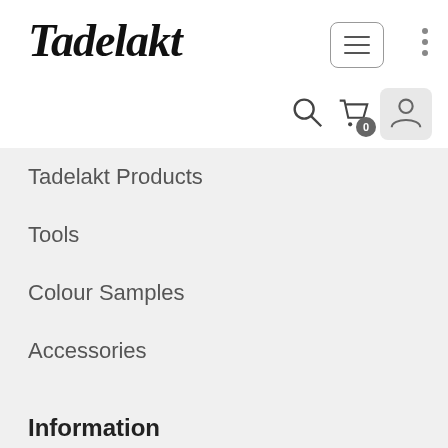Tadelakt
Tadelakt Products
Tools
Colour Samples
Accessories
Information
Contacts
About Us